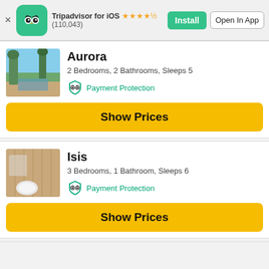Tripadvisor for iOS ★★★★½ (110,043) Install  Open In App
Aurora
2 Bedrooms, 2 Bathrooms, Sleeps 5
Payment Protection
Show Prices
Isis
3 Bedrooms, 1 Bathroom, Sleeps 6
Payment Protection
Show Prices